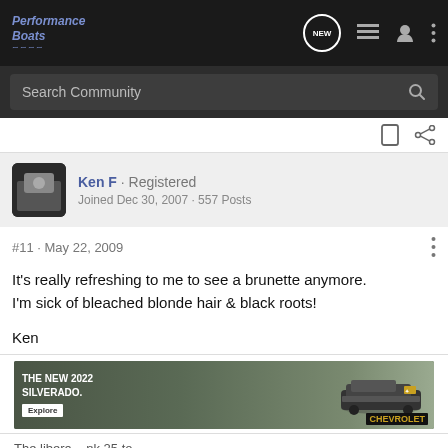Performance Boats
Search Community
Ken F · Registered
Joined Dec 30, 2007 · 557 Posts
#11 · May 22, 2009
It's really refreshing to me to see a brunette anymore.
I'm sick of bleached blonde hair & black roots!

Ken
[Figure (screenshot): Chevrolet Silverado 2022 advertisement banner showing truck with text THE NEW 2022 SILVERADO. and Explore button]
The libera... nk 25 to